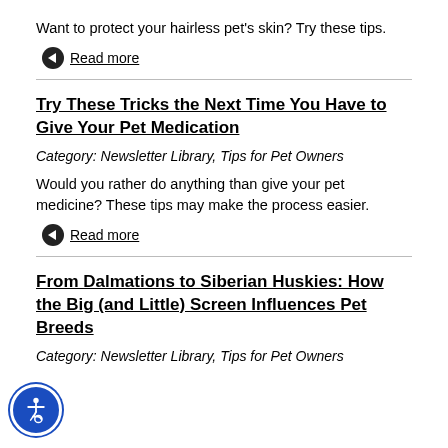Want to protect your hairless pet's skin? Try these tips.
Read more
Try These Tricks the Next Time You Have to Give Your Pet Medication
Category: Newsletter Library, Tips for Pet Owners
Would you rather do anything than give your pet medicine? These tips may make the process easier.
Read more
From Dalmations to Siberian Huskies: How the Big (and Little) Screen Influences Pet Breeds
Category: Newsletter Library, Tips for Pet Owners